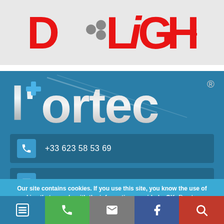[Figure (logo): D•LiGHT brand logo in red bold lettering with dot-pattern hexagon between D and LiGHT, on light grey background]
[Figure (logo): L'ortec brand logo in silver 3D metallic lettering with registered trademark symbol, on blue background, with blue medical cross]
+33 623 58 53 69
office@lortec-medical.com
Our site contains cookies. If you use this site, you know the use of cookies that comply with the information provided.  OK  Read more
[Figure (infographic): Bottom navigation bar with 5 icons: hamburger menu (blue), phone (green), envelope (grey), Facebook f (dark blue), search magnifier (red)]